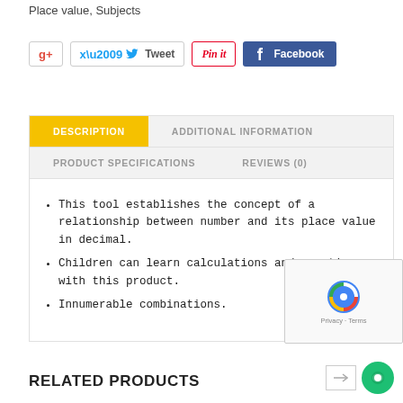Place value, Subjects
[Figure (screenshot): Social sharing buttons: G+, Tweet, Pin it, Facebook]
DESCRIPTION
ADDITIONAL INFORMATION
PRODUCT SPECIFICATIONS
REVIEWS (0)
This tool establishes the concept of a relationship between number and its place value in decimal.
Children can learn calculations and counting with this product.
Innumerable combinations.
RELATED PRODUCTS